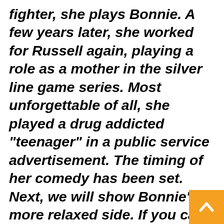fighter, she plays Bonnie. A few years later, she worked for Russell again, playing a role as a mother in the silver line game series. Most unforgettable of all, she played a drug addicted "teenager" in a public service advertisement. The timing of her comedy has been set. Next, we will show Bonnie's more relaxed side. If you can't deal with horror movies and don't like plays, Aaron will report for you. In the princess diaries, she was able to show her relaxed side as